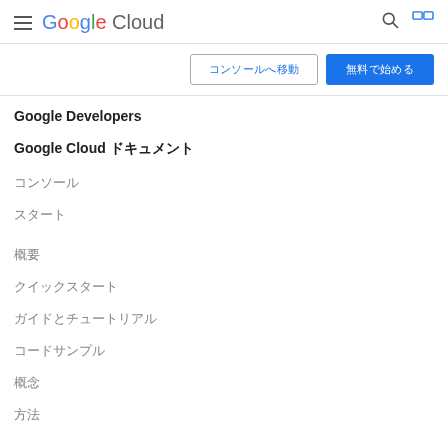Google Cloud navigation header
コンソールへ移動 | 無料で始める
Google Developers
Google Cloud ドキュメント
コンソール
スタート
概要
クイックスタート
ガイドとチュートリアル
コードサンプル
概念
方法